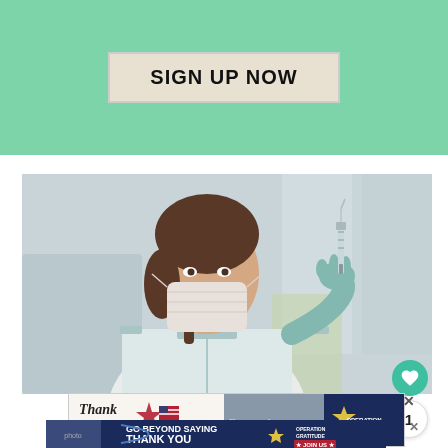[Figure (other): Green banner with 'SIGN UP NOW' button in beige/tan color]
[Figure (photo): Female nurse or healthcare worker wearing a white lab coat, surgical mask, and blue latex gloves, holding a syringe with a vaccine, photographed in a medical setting]
[Figure (other): Operation Gratitude advertisement banner showing 'Thank you' text with patriotic styling and healthcare workers holding cards]
[Figure (other): Second Operation Gratitude advertisement banner with text 'GO BEYOND SAYING THANK YOU' and JOIN US call to action]